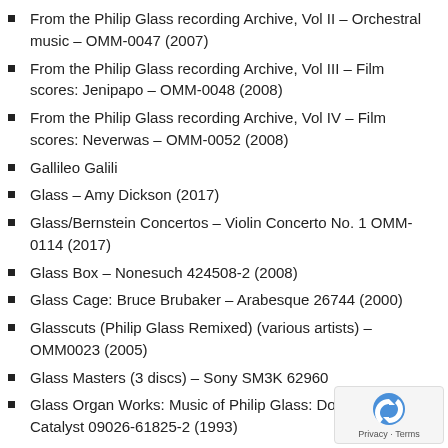From the Philip Glass recording Archive, Vol II – Orchestral music – OMM-0047 (2007)
From the Philip Glass recording Archive, Vol III – Film scores: Jenipapo – OMM-0048 (2008)
From the Philip Glass recording Archive, Vol IV – Film scores: Neverwas – OMM-0052 (2008)
Gallileo Galili
Glass – Amy Dickson (2017)
Glass/Bernstein Concertos – Violin Concerto No. 1 OMM-0114 (2017)
Glass Box – Nonesuch 424508-2 (2008)
Glass Cage: Bruce Brubaker – Arabesque 26744 (2000)
Glasscuts (Philip Glass Remixed) (various artists) – OMM0023 (2005)
Glass Masters (3 discs) – Sony SM3K 62960
Glass Organ Works: Music of Philip Glass: Donald Joyce – Catalyst 09026-61825-2 (1993)
Glass Piano: Bruce Brubaker (2015)
Glass Reflections (Cello Octet Conjunto Iberico) – OMM-